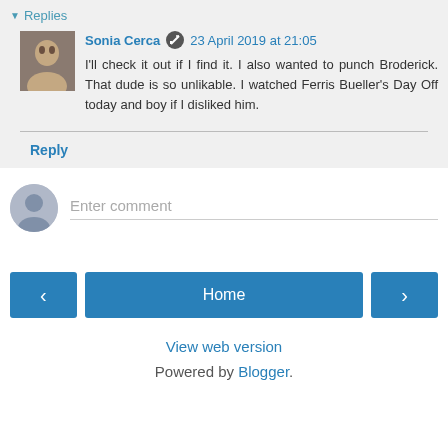▼ Replies
Sonia Cerca  23 April 2019 at 21:05
I'll check it out if I find it. I also wanted to punch Broderick. That dude is so unlikable. I watched Ferris Bueller's Day Off today and boy if I disliked him.
Reply
Enter comment
Home
View web version
Powered by Blogger.